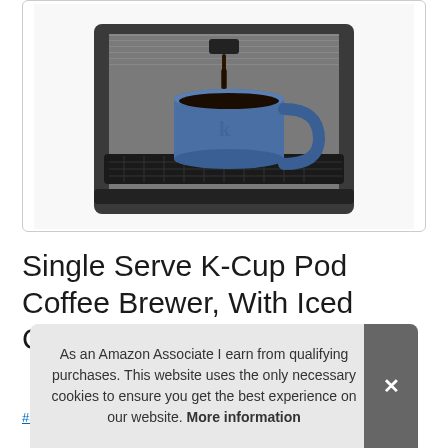[Figure (photo): Keurig single serve K-Cup pod coffee brewer with a blue mug being filled with coffee, silver/black machine]
Single Serve K-Cup Pod Coffee Brewer, With Iced Coffee Capability, Brushed Sil
#ad
As an Amazon Associate I earn from qualifying purchases. This website uses the only necessary cookies to ensure you get the best experience on our website. More information